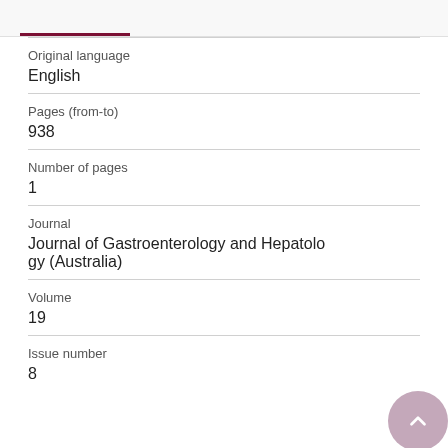Original language
English
Pages (from-to)
938
Number of pages
1
Journal
Journal of Gastroenterology and Hepatology (Australia)
Volume
19
Issue number
8